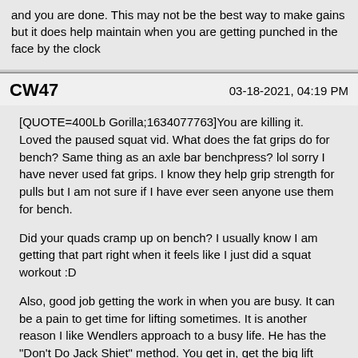and you are done. This may not be the best way to make gains but it does help maintain when you are getting punched in the face by the clock
CW47    03-18-2021, 04:19 PM
[QUOTE=400Lb Gorilla;1634077763]You are killing it. Loved the paused squat vid. What does the fat grips do for bench? Same thing as an axle bar benchpress? lol sorry I have never used fat grips. I know they help grip strength for pulls but I am not sure if I have ever seen anyone use them for bench.

Did your quads cramp up on bench? I usually know I am getting that part right when it feels like I just did a squat workout :D

Also, good job getting the work in when you are busy. It can be a pain to get time for lifting sometimes. It is another reason I like Wendlers approach to a busy life. He has the "Don't Do Jack Shiet" method. You get in, get the big lift work done and get out. 3 working sets and you are done. This may not be the best way to make gains but it does help maintain when you are getting punched in the face by the clock[/QUOTE]